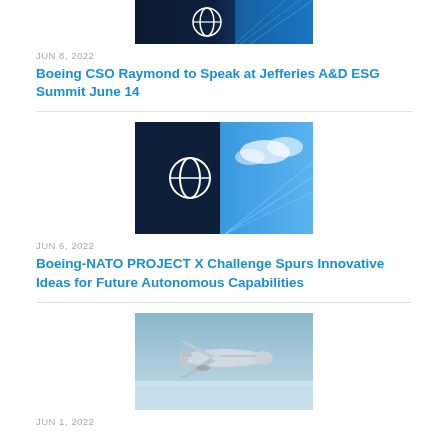[Figure (photo): Boeing logo on dark background with blue sky, partially cropped at top]
JUN 8, 2022
Boeing CSO Raymond to Speak at Jefferies A&D ESG Summit June 14
[Figure (photo): Boeing logo building against blue sky with clouds]
JUN 6, 2022
Boeing-NATO PROJECT X Challenge Spurs Innovative Ideas for Future Autonomous Capabilities
[Figure (photo): Boeing aircraft flying over icy/snowy terrain]
JUN 1, 2022